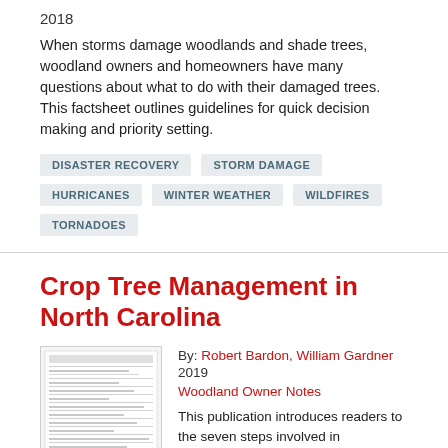2018
When storms damage woodlands and shade trees, woodland owners and homeowners have many questions about what to do with their damaged trees. This factsheet outlines guidelines for quick decision making and priority setting.
DISASTER RECOVERY
STORM DAMAGE
HURRICANES
WINTER WEATHER
WILDFIRES
TORNADOES
Crop Tree Management in North Carolina
By: Robert Bardon, William Gardner
2019
Woodland Owner Notes
[Figure (other): Thumbnail image of a document page showing a table/form layout]
This publication introduces readers to the seven steps involved in implementing crop tree management. The publication is tailored to Southeast species, objectives, and forest conditions and explains